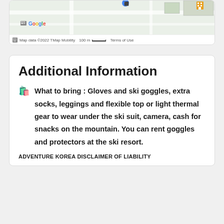[Figure (map): Google Maps partial view showing map data ©2022 TMap Mobility, 100m scale bar, and Terms of Use link]
Additional Information
What to bring : Gloves and ski goggles, extra socks, leggings and flexible top or light thermal gear to wear under the ski suit, camera, cash for snacks on the mountain. You can rent goggles and protectors at the ski resort.
ADVENTURE KOREA DISCLAIMER OF LIABILITY